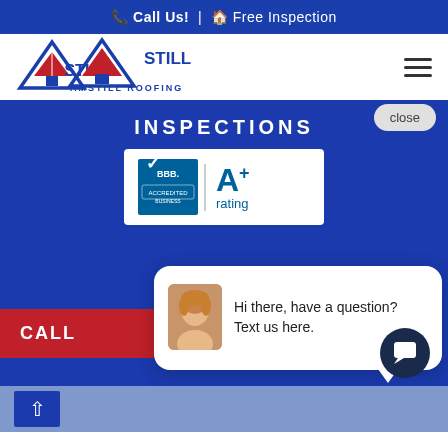Call Us! | Free Inspection
[Figure (logo): Amstill Roofing logo with triangular roof icon and company name]
INSPECTIONS
[Figure (logo): BBB Accredited Business A+ rating badge]
close
CALL
Hi there, have a question? Text us here.